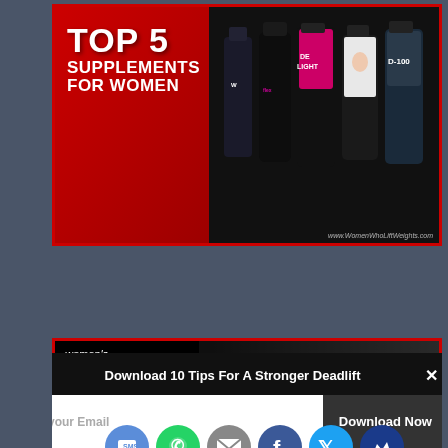[Figure (photo): Advertisement banner: TOP 5 SUPPLEMENTS FOR WOMEN with supplement product bottles including Whey, Delight, and other protein containers. Website watermark: www.WomenWhoLiftWeights.com]
[Figure (photo): Women's Fitness Survey banner with dark background showing a woman lifting weights in a gym. Text reads: women's fitness SURVEY. Social sharing buttons below (SMS, WhatsApp, Email, Facebook, Twitter, Crown/bookmark).]
Sha
Download 10 Tips For A Stronger Deadlift
Enter your Email
Download Now